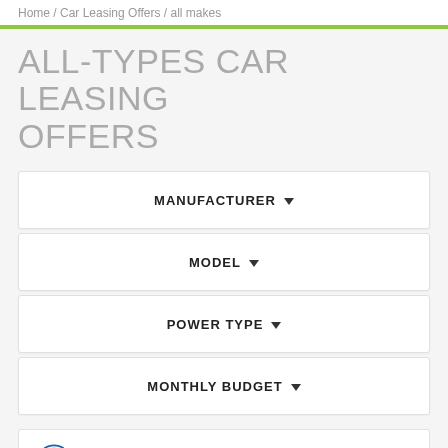Home / Car Leasing Offers / all makes
ALL-TYPES CAR LEASING OFFERS
MANUFACTURER ▾
MODEL ▾
POWER TYPE ▾
MONTHLY BUDGET ▾
VOLKSWAGEN